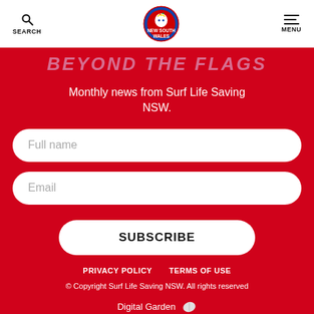SEARCH | NEW SOUTH WALES | MENU
BEYOND THE FLAGS
Monthly news from Surf Life Saving NSW.
Full name
Email
SUBSCRIBE
PRIVACY POLICY   TERMS OF USE
© Copyright Surf Life Saving NSW. All rights reserved
Digital Garden